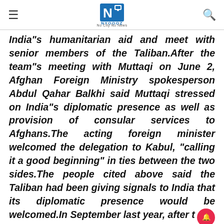NYOOOZ - No City No News
India"s humanitarian aid and meet with senior members of the Taliban.After the team"s meeting with Muttaqi on June 2, Afghan Foreign Ministry spokesperson Abdul Qahar Balkhi said Muttaqi stressed on India"s diplomatic presence as well as provision of consular services to Afghans.The acting foreign minister welcomed the delegation to Kabul, "calling it a good beginning" in ties between the two sides.The people cited above said the Taliban had been giving signals to India that its diplomatic presence would be welcomed.In September last year, after t